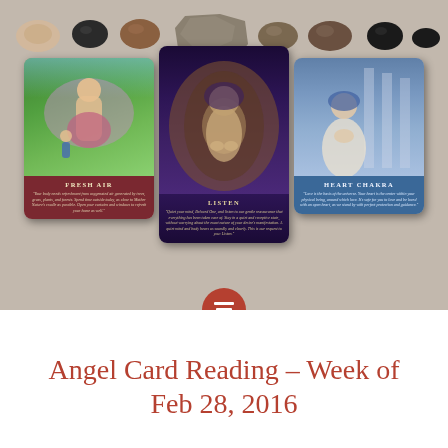[Figure (photo): Photograph showing three angel oracle cards laid out side by side on a grey linen surface, with various polished stones and crystals arranged in a row above the cards. Left card: 'Fresh Air' with green top illustration of angel and child, red bottom with italic text. Center card: 'Listen' with dark purple illustration of cloaked angel figure, dark bottom with italic text. Right card: 'Heart Chakra' with blue-grey illustration of woman, blue bottom with italic text. A terracotta-colored circular icon with lines (menu icon) overlaps the bottom center of the photo.]
Angel Card Reading – Week of Feb 28, 2016